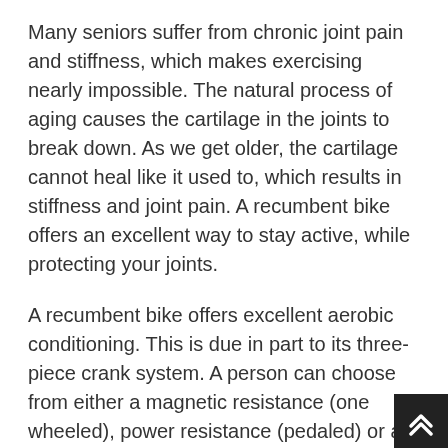Many seniors suffer from chronic joint pain and stiffness, which makes exercising nearly impossible. The natural process of aging causes the cartilage in the joints to break down. As we get older, the cartilage cannot heal like it used to, which results in stiffness and joint pain. A recumbent bike offers an excellent way to stay active, while protecting your joints.
A recumbent bike offers excellent aerobic conditioning. This is due in part to its three-piece crank system. A person can choose from either a magnetic resistance (one wheeled), power resistance (pedaled) or a multi-purpose system that allows riders to use both hands for cycling, jogging, climbing or weight training. The one-wheeler design of the crank system allows for optimal resistance levels and less stress on joints. An elliptical trainer provides a low-impact aerobic fitness program, but